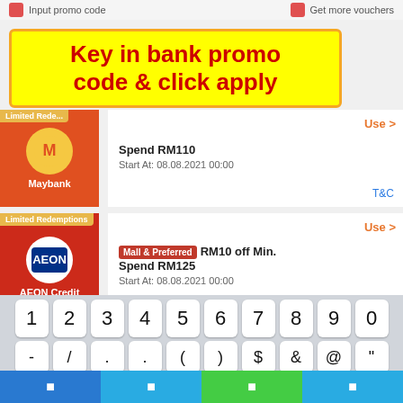Input promo code   Get more vouchers
[Figure (screenshot): Mobile app screenshot showing voucher list with Maybank and AEON Credit voucher cards]
Key in bank promo code & click apply
Limited Redemptions
Maybank
Spend RM110
Start At: 08.08.2021 00:00
T&C
Limited Redemptions
AEON Credit
Use >
Mall & Preferred RM10 off Min. Spend RM125
Start At: 08.08.2021 00:00
T&C
Limited Redemptions
[Figure (screenshot): Mobile numeric keyboard showing digits 1-9, 0 on top row and symbols - / . . ( ) $ & @ " on second row, with blue/green bottom navigation bar]